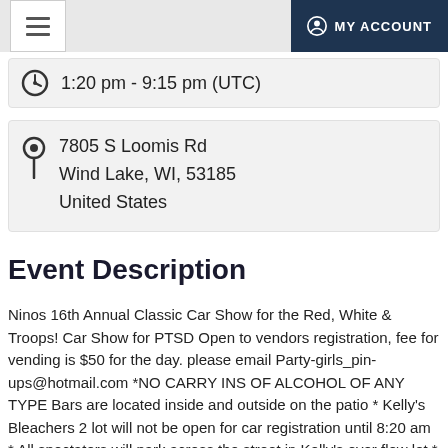MY ACCOUNT
1:20 pm - 9:15 pm (UTC)
7805 S Loomis Rd
Wind Lake, WI, 53185
United States
Event Description
Ninos 16th Annual Classic Car Show for the Red, White & Troops! Car Show for PTSD Open to vendors registration, fee for vending is $50 for the day. please email Party-girls_pin-ups@hotmail.com *NO CARRY INS OF ALCOHOL OF ANY TYPE Bars are located inside and outside on the patio * Kelly's Bleachers 2 lot will not be open for car registration until 8:20 am * All spectators will park across the street in Kelly's over flow lot * More announcements will be made July 12th Registration $10 Awards *Top over all 3 *Veterans Choice * Survivors Class Silent Auctions, Raffles, 50/50 raffles through out the weekend, Bar & Food, Vendors, music and bands Pin-Up Contest inside on the stage First 50 registrants will